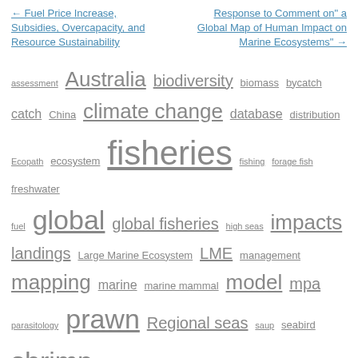← Fuel Price Increase, Subsidies, Overcapacity, and Resource Sustainability
Response to Comment on" a Global Map of Human Impact on Marine Ecosystems" →
[Figure (other): Tag cloud of scientific topics including fisheries, global, shrimp, Australia, sustainability, impacts, model, prawn, mapping, climate change, Torres Strait, and many others in varying font sizes indicating frequency.]
SEARCH PUBLICATIONS
Publication Type